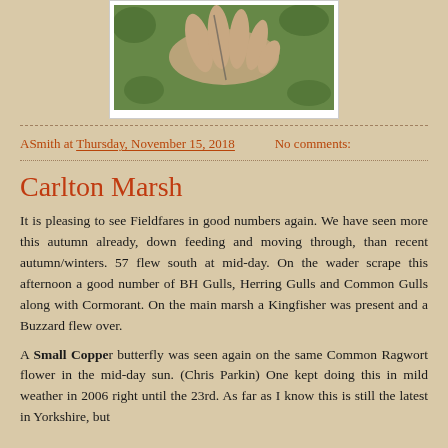[Figure (photo): A hand holding something outdoors, with green foliage in the background. Photo shown in a white-bordered frame.]
ASmith at Thursday, November 15, 2018    No comments:
Carlton Marsh
It is pleasing to see Fieldfares in good numbers again. We have seen more this autumn already, down feeding and moving through, than recent autumn/winters. 57 flew south at mid-day. On the wader scrape this afternoon a good number of BH Gulls, Herring Gulls and Common Gulls along with Cormorant. On the main marsh a Kingfisher was present and a Buzzard flew over.
A Small Copper butterfly was seen again on the same Common Ragwort flower in the mid-day sun. (Chris Parkin) One kept doing this in mild weather in 2006 right until the 23rd. As far as I know this is still the latest in Yorkshire, but